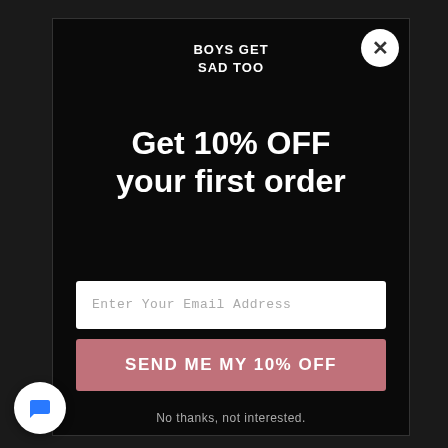BOYS GET SAD TOO
Get 10% OFF your first order
Enter Your Email Address
SEND ME MY 10% OFF
No thanks, not interested.